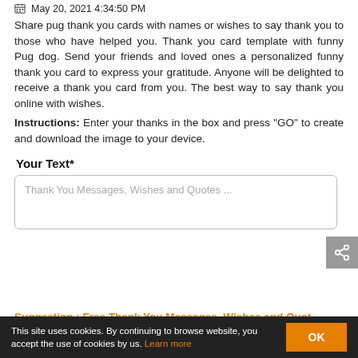May 20, 2021 4:34:50 PM
Share pug thank you cards with names or wishes to say thank you to those who have helped you. Thank you card template with funny Pug dog. Send your friends and loved ones a personalized funny thank you card to express your gratitude. Anyone will be delighted to receive a thank you card from you. The best way to say thank you online with wishes.
Instructions: Enter your thanks in the box and press "GO" to create and download the image to your device.
Your Text*
Thank You Messages, Wishes and Quotes ...
Suggestion : Free Thank You Messages, Wishes and Quot
This site uses cookies. By continuing to browse website, you accept the use of cookies by us. Learn more